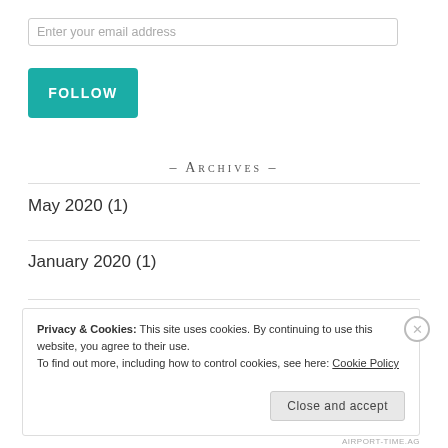Enter your email address
FOLLOW
- Archives -
May 2020 (1)
January 2020 (1)
Privacy & Cookies: This site uses cookies. By continuing to use this website, you agree to their use. To find out more, including how to control cookies, see here: Cookie Policy
Close and accept